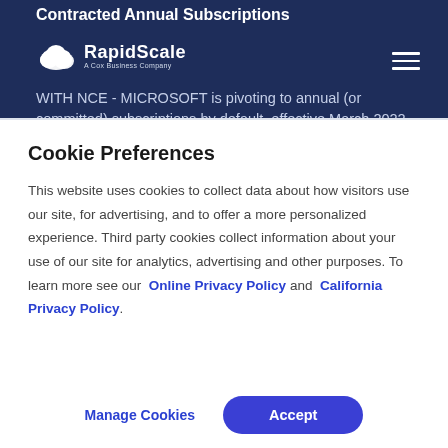Contracted Annual Subscriptions
[Figure (logo): RapidScale logo — cloud icon with text 'RapidScale A Cox Business Company']
WITH NCE - MICROSOFT is pivoting to annual (or committed) subscriptions by default, effective March 2022.
Cookie Preferences
This website uses cookies to collect data about how visitors use our site, for advertising, and to offer a more personalized experience. Third party cookies collect information about your use of our site for analytics, advertising and other purposes. To learn more see our Online Privacy Policy and California Privacy Policy.
Manage Cookies | Accept